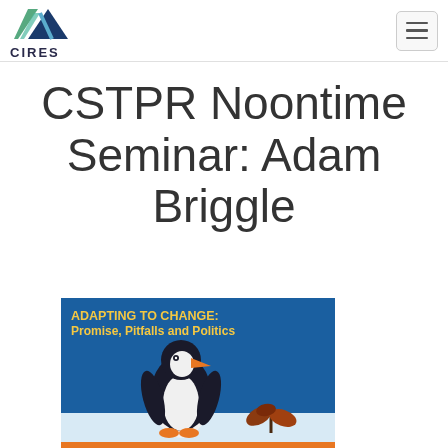CIRES
CSTPR Noontime Seminar: Adam Briggle
[Figure (illustration): Book cover for 'Adapting to Change: Promise, Pitfalls and Politics' showing a penguin and a small plant on a snowy landscape with blue sky background.]